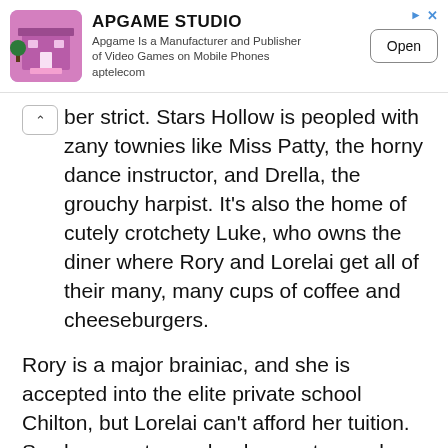[Figure (screenshot): Advertisement banner for APGAME STUDIO showing a game screenshot icon, title 'APGAME STUDIO', description 'Apgame Is a Manufacturer and Publisher of Video Games on Mobile Phones aptelecom', and an Open button]
ber strict. Stars Hollow is peopled with zany townies like Miss Patty, the horny dance instructor, and Drella, the grouchy harpist. It's also the home of cutely crotchety Luke, who owns the diner where Rory and Lorelai get all of their many, many cups of coffee and cheeseburgers.
Rory is a major brainiac, and she is accepted into the elite private school Chilton, but Lorelai can't afford her tuition. So she goes to see her long-estranged parents in Hartford and they agree to pay if Rory and Lorelai start attending Friday night dinners at their house every week. The first dinner devolves into a fight about how Lorelai didn't marry Rory's father Christopher when he knocked her up